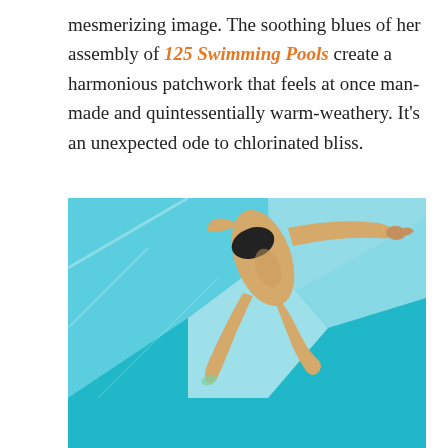mesmerizing image. The soothing blues of her assembly of 125 Swimming Pools create a harmonious patchwork that feels at once man-made and quintessentially warm-weathery. It's an unexpected ode to chlorinated bliss.
[Figure (illustration): Painting viewed from above showing two female swimmers in a blue swimming pool. One swimmer wearing a black bikini bottom is shown from above with legs extended, the other in a blue patterned swimsuit is partially visible in the lower right. The pool is rendered in vivid turquoise and light blue tones.]